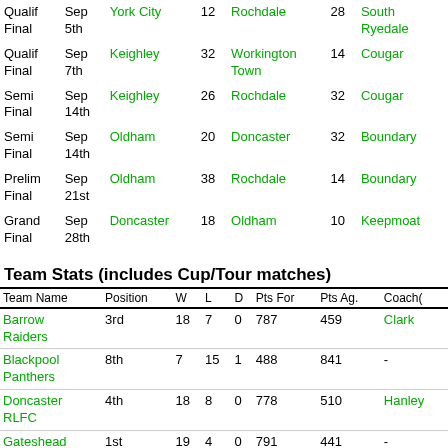| Round | Date | Team1 | Score1 | Team2 | Score2 | Venue |
| --- | --- | --- | --- | --- | --- | --- |
| Qualif Final | Sep 5th | York City | 12 | Rochdale | 28 | South Ryedale |
| Qualif Final | Sep 7th | Keighley | 32 | Workington Town | 14 | Cougar |
| Semi Final | Sep 14th | Keighley | 26 | Rochdale | 32 | Cougar |
| Semi Final | Sep 14th | Oldham | 20 | Doncaster | 32 | Boundary |
| Prelim Final | Sep 21st | Oldham | 38 | Rochdale | 14 | Boundary |
| Grand Final | Sep 28th | Doncaster | 18 | Oldham | 10 | Keepmoat |
Team Stats (includes Cup/Tour matches)
| Team Name | Position | W | L | D | Pts For | Pts Ag. | Coach( |
| --- | --- | --- | --- | --- | --- | --- | --- |
| Barrow Raiders | 3rd | 18 | 7 | 0 | 787 | 459 | Clark |
| Blackpool Panthers | 8th | 7 | 15 | 1 | 488 | 841 | - |
| Doncaster RLFC | 4th | 18 | 8 | 0 | 778 | 510 | Hanley |
| Gateshead Thunder | 1st | 19 | 4 | 0 | 791 | 441 | - |